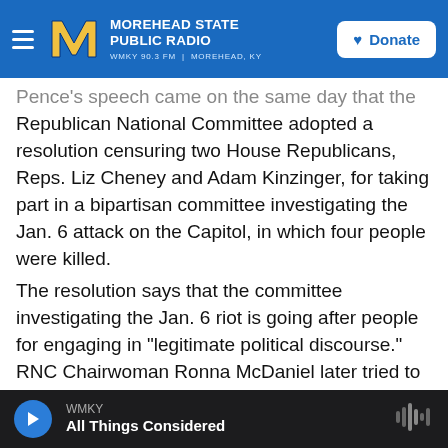Morehead State Public Radio — WMKY 90.3 FM | Morehead, KY — Donate
Pence's speech came on the same day that the Republican National Committee adopted a resolution censuring two House Republicans, Reps. Liz Cheney and Adam Kinzinger, for taking part in a bipartisan committee investigating the Jan. 6 attack on the Capitol, in which four people were killed.
The resolution says that the committee investigating the Jan. 6 riot is going after people for engaging in "legitimate political discourse." RNC Chairwoman Ronna McDaniel later tried to clarify that language, insisting it was not referring to the violence of the day…
WMKY — All Things Considered